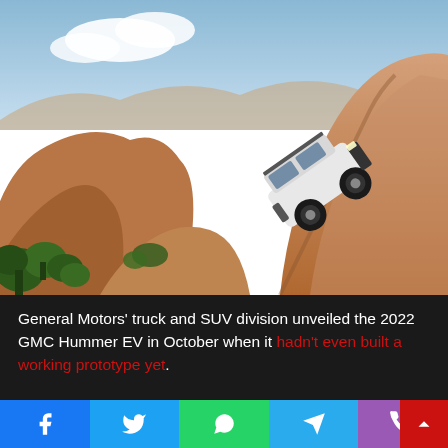[Figure (photo): A white GMC Hummer EV SUV climbing a steep red rock formation at a steep angle, with desert landscape and blue sky in the background.]
General Motors' truck and SUV division unveiled the 2022 GMC Hummer EV in October when it hadn't even built a working prototype yet. Prototypes that looked nearly production ready were spotte